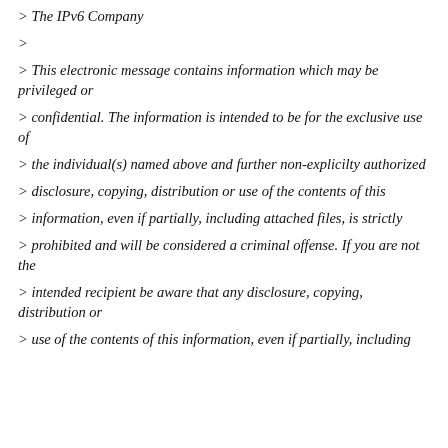> The IPv6 Company
>
> This electronic message contains information which may be privileged or
> confidential. The information is intended to be for the exclusive use of
> the individual(s) named above and further non-explicilty authorized
> disclosure, copying, distribution or use of the contents of this
> information, even if partially, including attached files, is strictly
> prohibited and will be considered a criminal offense. If you are not the
> intended recipient be aware that any disclosure, copying, distribution or
> use of the contents of this information, even if partially, including